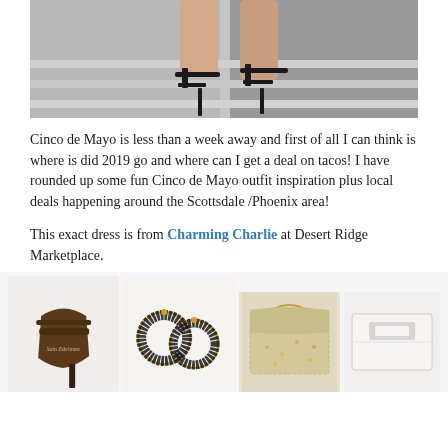[Figure (photo): Close-up photo of a person wearing black high-heeled ankle strap sandals on concrete stairs]
Cinco de Mayo is less than a week away and first of all I can think is where is did 2019 go and where can I get a deal on tacos! I have rounded up some fun Cinco de Mayo outfit inspiration plus local deals happening around the Scottsdale /Phoenix area!
This exact dress is from Charming Charlie at Desert Ridge Marketplace.
[Figure (photo): Product collage showing: a dark brown strappy high heel sandal (Sam Edelman), black beaded hoop earrings, a gold/sequin clutch purse, and a white structured clutch bag]